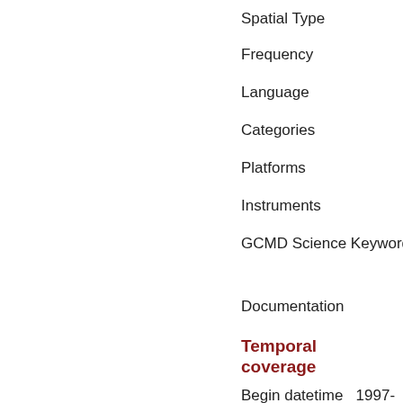Spatial Type
Frequency
Language
Categories
Platforms
Instruments
GCMD Science Keywords
Documentation
Temporal coverage
Begin datetime   1997-01-01